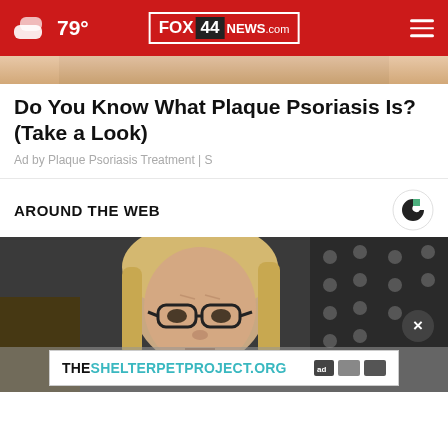79° FOX 44 NEWS.com
[Figure (photo): Partial view of skin tone image (ad image strip)]
Do You Know What Plaque Psoriasis Is? (Take a Look)
Ad by Plaque Psoriasis Treatment | S
AROUND THE WEB
[Figure (logo): Outbrain logo (C-shaped green and black circle)]
[Figure (photo): Woman with blonde hair and dark-rimmed glasses looking serious, with American flag in background]
THESHELTERPETPROJECT.ORG